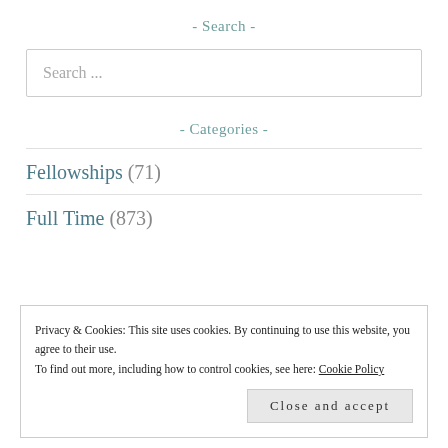- Search -
Search ...
- Categories -
Fellowships (71)
Full Time (873)
Privacy & Cookies: This site uses cookies. By continuing to use this website, you agree to their use.
To find out more, including how to control cookies, see here: Cookie Policy
Close and accept